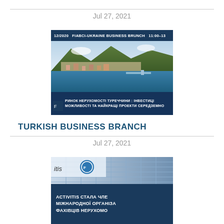Jul 27, 2021
[Figure (photo): FIABCI-Ukraine Business Brunch promotional image showing aerial view of Turkish coastal city with mountains, sea and harbor, with Ukrainian text about Turkish real estate market]
TURKISH BUSINESS BRANCH
Jul 27, 2021
[Figure (photo): Activitis company announcement image with glass building background and Ukrainian text about becoming member of international real estate professionals organization (FIABCI)]